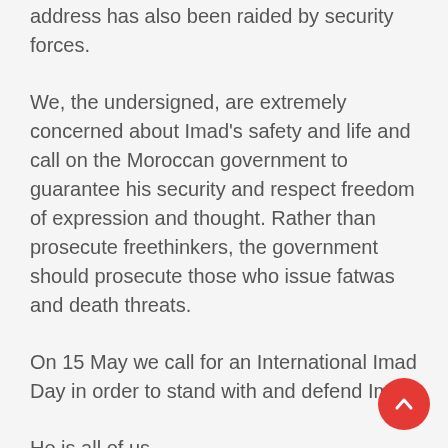address has also been raided by security forces.
We, the undersigned, are extremely concerned about Imad's safety and life and call on the Moroccan government to guarantee his security and respect freedom of expression and thought. Rather than prosecute freethinkers, the government should prosecute those who issue fatwas and death threats.
On 15 May we call for an International Imad Day in order to stand with and defend Imad.
He is all of us.
[For 15 May, add your name to the list below; send letters of protest to the Moroccan embassy in your country of residence; Tweet #Imad, #Atheist, #exMuslim; do an act of solidarity, including posting a photo of yourself holding a message like Imad has done (you can also